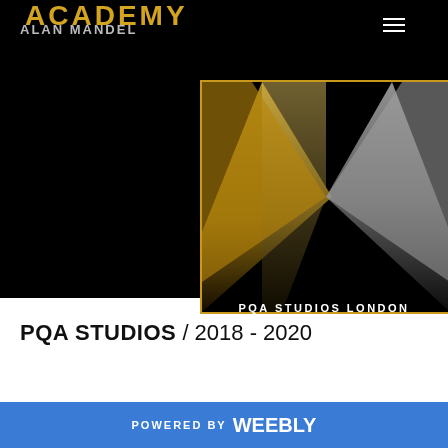ACADEMY — ALAN MANDEL
[Figure (logo): PQA Studios London logo: gold-bordered black square with two crossed spotlight beams (one golden/warm, one cool/grey) converging at center forming an X shape. Text 'PQA STUDIOS LONDON' below in white capitals.]
PQA STUDIOS / 2018 - 2020
POWERED BY weebly